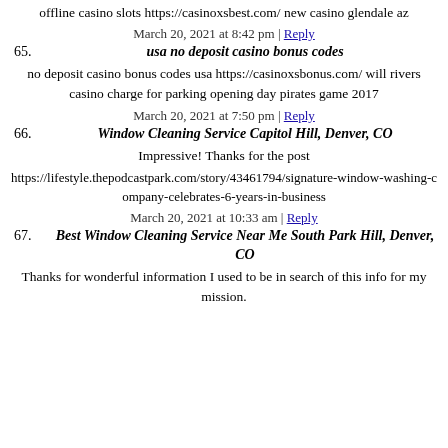offline casino slots https://casinoxsbest.com/ new casino glendale az
March 20, 2021 at 8:42 pm | Reply
65. usa no deposit casino bonus codes
no deposit casino bonus codes usa https://casinoxsbonus.com/ will rivers casino charge for parking opening day pirates game 2017
March 20, 2021 at 7:50 pm | Reply
66. Window Cleaning Service Capitol Hill, Denver, CO
Impressive! Thanks for the post
https://lifestyle.thepodcastpark.com/story/43461794/signature-window-washing-company-celebrates-6-years-in-business
March 20, 2021 at 10:33 am | Reply
67. Best Window Cleaning Service Near Me South Park Hill, Denver, CO
Thanks for wonderful information I used to be in search of this info for my mission.